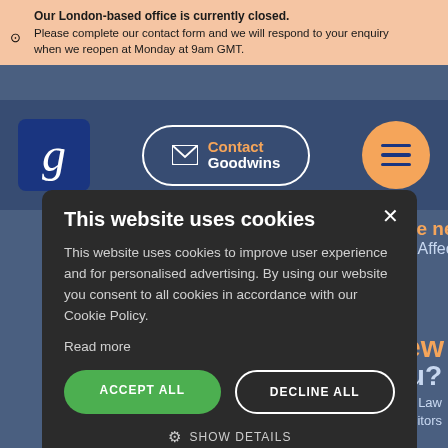Our London-based office is currently closed. Please complete our contact form and we will respond to your enquiry when we reopen at Monday at 9am GMT.
[Figure (screenshot): Goodwins law firm website navigation bar with logo, Contact Goodwins button, and menu icon]
[Figure (screenshot): Cookie consent modal dialog over a law firm website. Title: This website uses cookies. Body: This website uses cookies to improve user experience and for personalised advertising. By using our website you consent to all cookies in accordance with our Cookie Policy. Read more. Buttons: ACCEPT ALL, DECLINE ALL, SHOW DETAILS. Footer: POWERED BY COOKIESCRIPT]
This website uses cookies
This website uses cookies to improve user experience and for personalised advertising. By using our website you consent to all cookies in accordance with our Cookie Policy.
Read more
ACCEPT ALL
DECLINE ALL
SHOW DETAILS
POWERED BY COOKIESCRIPT